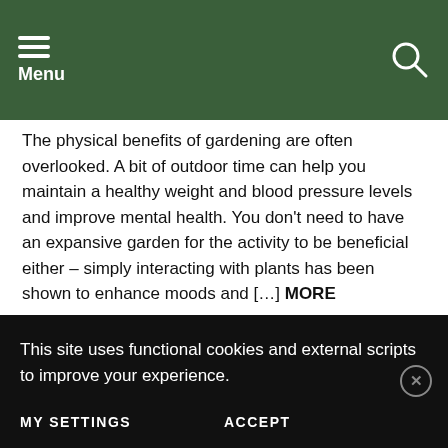Menu
The physical benefits of gardening are often overlooked. A bit of outdoor time can help you maintain a healthy weight and blood pressure levels and improve mental health. You don't need to have an expansive garden for the activity to be beneficial either – simply interacting with plants has been shown to enhance moods and […] MORE
by Robin A
about a year ago
Advertisements
Business in
This site uses functional cookies and external scripts to improve your experience.
MY SETTINGS   ACCEPT